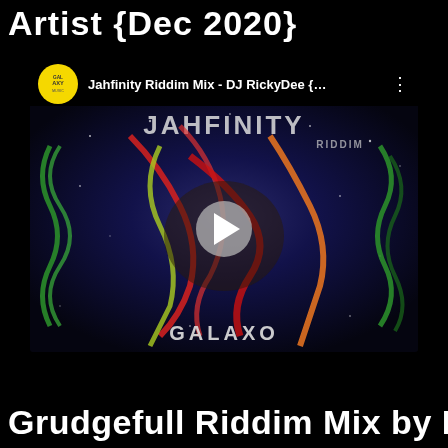Artist {Dec 2020}
[Figure (screenshot): YouTube-style video thumbnail for 'Jahfinity Riddim Mix - DJ RickyDee {...' with Galaxy Music channel icon, colorful reggae-themed artwork with green, red, yellow ribbon shapes on space background, play button in center, GALAXO text at bottom]
Grudgefull Riddim Mix by DJ